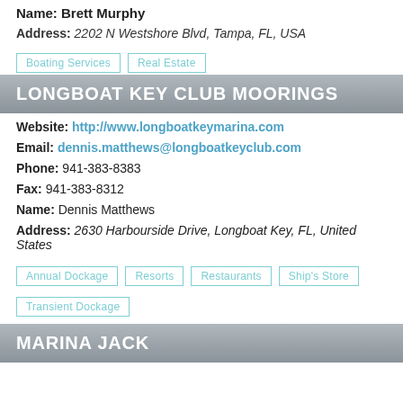Name: Brett Murphy
Address: 2202 N Westshore Blvd, Tampa, FL, USA
Boating Services
Real Estate
LONGBOAT KEY CLUB MOORINGS
Website: http://www.longboatkeymarina.com
Email: dennis.matthews@longboatkeyclub.com
Phone: 941-383-8383
Fax: 941-383-8312
Name: Dennis Matthews
Address: 2630 Harbourside Drive, Longboat Key, FL, United States
Annual Dockage
Resorts
Restaurants
Ship's Store
Transient Dockage
MARINA JACK